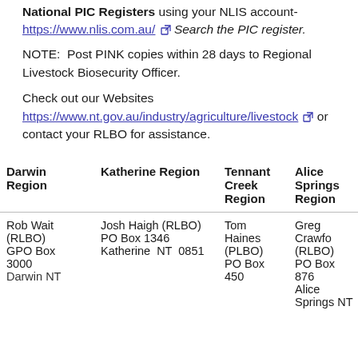National PIC Registers using your NLIS account- https://www.nlis.com.au/ Search the PIC register.
NOTE:  Post PINK copies within 28 days to Regional Livestock Biosecurity Officer.
Check out our Websites https://www.nt.gov.au/industry/agriculture/livestock or contact your RLBO for assistance.
| Darwin Region | Katherine Region | Tennant Creek Region | Alice Springs Region |
| --- | --- | --- | --- |
| Rob Wait (RLBO) GPO Box 3000 Darwin NT | Josh Haigh (RLBO) PO Box 1346 Katherine  NT  0851 | Tom Haines (PLBO) PO Box 450 | Greg Crawford (RLBO) PO Box 876 Alice Springs NT |